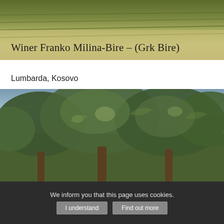[Figure (photo): Top banner image showing vineyard rows with green foliage, harvested landscape]
Winer Franko Milina-Bire – (Grk Bire)
Lumbarda, Kosovo
Tel: +385 (0)20 – 712 007
+385 (0)20 – 712 249
+385 (0)98 – 344 712
e-mail: info@bire.hr
http://bire.hr/
[Figure (photo): Bottom image showing olive trees with dense green foliage and gnarled branches]
We inform you that this page uses cookies.
I understand   Find out more